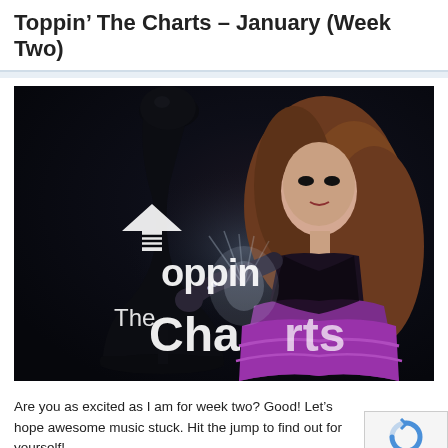Toppin’ The Charts – January (Week Two)
[Figure (photo): Promotional photo for 'Toppin The Charts' blog post featuring a Japanese pop artist in a dark dramatic setting wearing a purple ruffled dress with black lace, holding a black chess piece. White logo text reads 'Toppin The Charts' with an upward arrow graphic overlaid on the image.]
Are you as excited as I am for week two? Good! Let’s hope awesome music stuck. Hit the jump to find out for yourself!